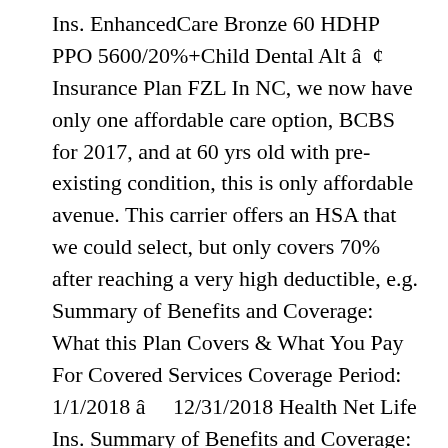Ins. EnhancedCare Bronze 60 HDHP PPO 5600/20%+Child Dental Alt â ¢ Insurance Plan FZL In NC, we now have only one affordable care option, BCBS for 2017, and at 60 yrs old with pre-existing condition, this is only affordable avenue. This carrier offers an HSA that we could select, but only covers 70% after reaching a very high deductible, e.g. Summary of Benefits and Coverage: What this Plan Covers & What You Pay For Covered Services Coverage Period: 1/1/2018 â    12/31/2018 Health Net Life Ins. Summary of Benefits and Coverage: What this plan covers and What You Pay For Covered ServicesCoverage Period: Beginning on or after 01/01/2019Kaiser Permanente Bronze 60 HDHP HMO...